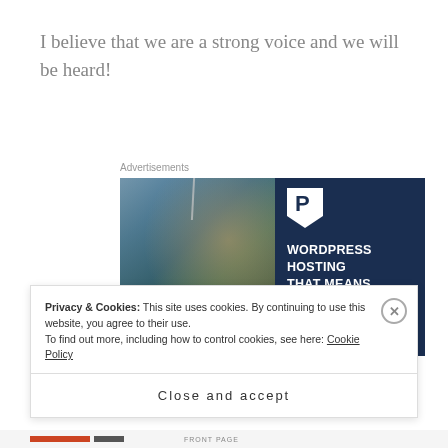I believe that we are a strong voice and we will be heard!
Advertisements
[Figure (infographic): WordPress hosting advertisement showing a woman holding an Open sign on the left (photo) and a dark navy blue panel on the right with a P logo and text: WORDPRESS HOSTING THAT MEANS BUSINESS.]
Privacy & Cookies: This site uses cookies. By continuing to use this website, you agree to their use.
To find out more, including how to control cookies, see here: Cookie Policy
Close and accept